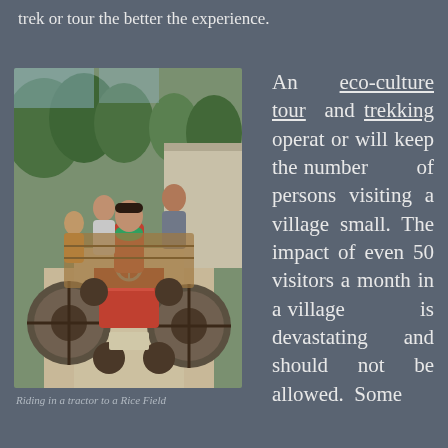trek or tour the better the experience.
[Figure (photo): People riding in a tractor to a rice field. A person in colorful clothing drives the tractor while others sit on a wooden trailer behind. Green trees and a wall are visible in the background.]
Riding in a tractor to a Rice Field
An eco-culture tour and trekking operator will keep the number of persons visiting a village small. The impact of even 50 visitors a month in a village is devastating and should not be allowed. Some